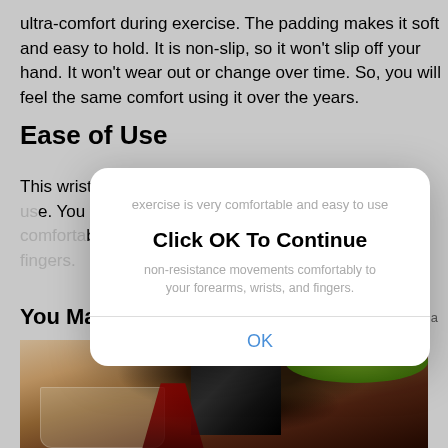ultra-comfort during exercise. The padding makes it soft and easy to hold. It is non-slip, so it won't slip off your hand. It won't wear out or change over time. So, you will feel the same comfort using it over the years.
Ease of Use
This wrist exercise is very comfortable and easy to use. You can do the non-resistance movements comfortably to strengthen your forearms, wrists, and fingers.
You May Like
Sponsored Links by Taboola
[Figure (photo): Photo of red wine being poured into a glass, with a dark bottle and green foliage in background]
[Figure (screenshot): Modal dialog box with bold text 'Click OK To Continue' and an OK button, overlaid on the page content]